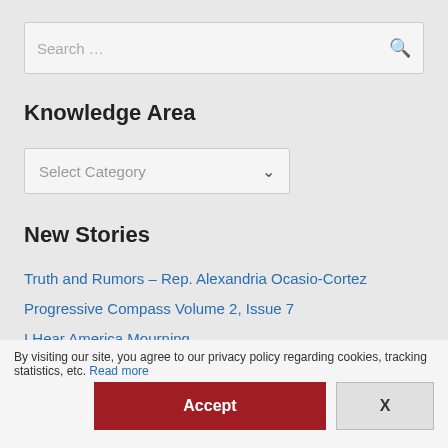[Figure (screenshot): Search input box with placeholder text 'Search …' and a search icon on the right]
Knowledge Area
[Figure (screenshot): Dropdown selector with placeholder 'Select Category' and a chevron arrow]
New Stories
Truth and Rumors – Rep. Alexandria Ocasio-Cortez
Progressive Compass Volume 2, Issue 7
I Hear America Mourning
Progressive Compass Volume 2, Issue 6
By visiting our site, you agree to our privacy policy regarding cookies, tracking statistics, etc. Read more
Accept
X